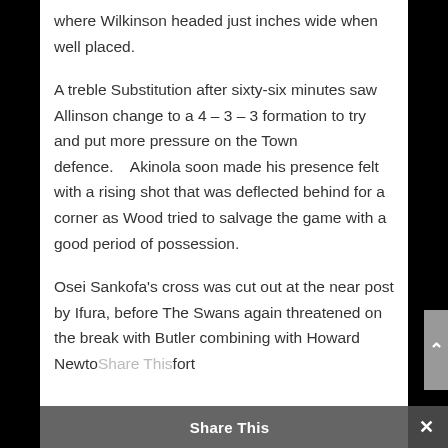where Wilkinson headed just inches wide when well placed.
A treble Substitution after sixty-six minutes saw Allinson change to a 4 – 3 – 3 formation to try and put more pressure on the Town defence.    Akinola soon made his presence felt with a rising shot that was deflected behind for a corner as Wood tried to salvage the game with a good period of possession.
Osei Sankofa's cross was cut out at the near post by Ifura, before The Swans again threatened on the break with Butler combining with Howard Newto Share This fort
Share This